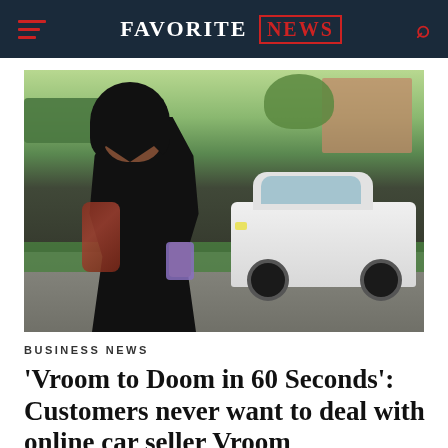FAVORITE NEWS
[Figure (photo): A woman in a black t-shirt standing outside near a white SUV parked on a driveway, holding a phone, with green hedges and a brick building visible in the background.]
BUSINESS NEWS
'Vroom to Doom in 60 Seconds': Customers never want to deal with online car seller Vroom again